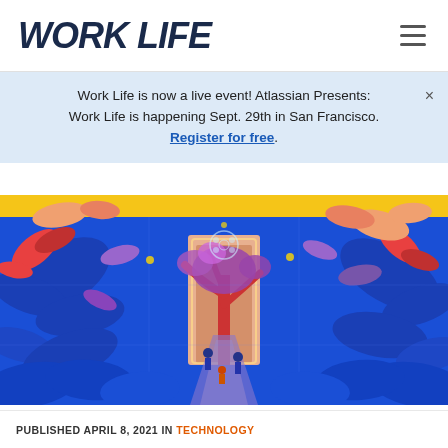WORK LIFE
Work Life is now a live event! Atlassian Presents: Work Life is happening Sept. 29th in San Francisco. Register for free.
[Figure (illustration): Colorful illustration of a lush tropical garden scene with stylized blue, coral/red, and purple foliage, palm trees, and small figures of people on a path. A glowing doorway is visible in the center background. Yellow accent strip at the top of the image.]
PUBLISHED APRIL 8, 2021 IN TECHNOLOGY